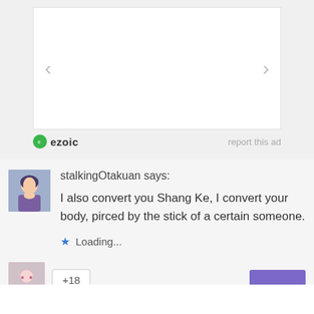[Figure (screenshot): Ad carousel placeholder with left and right arrow navigation buttons on white background]
ezoic   report this ad
[Figure (illustration): User avatar showing anime-style character]
stalkingOtakuan says:
I also convert you Shang Ke, I convert your body, pirced by the stick of a certain someone.
★ Loading...
+18